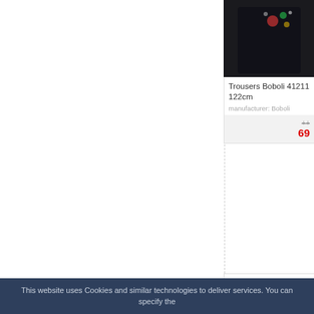[Figure (photo): Black trousers product image for Boboli 41211, partially visible at top right]
Trousers Boboli 41211 122cm
manufacturer: Boboli
69
[Figure (photo): Black cargo trousers product image for Boboli 46201, shown in full length against light background]
Trousers Boboli 46201
16cm
This website uses Cookies and similar technologies to deliver services. You can specify the